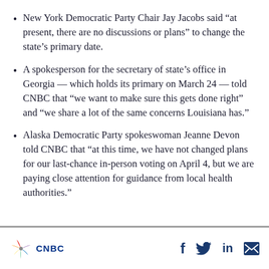New York Democratic Party Chair Jay Jacobs said “at present, there are no discussions or plans” to change the state’s primary date.
A spokesperson for the secretary of state’s office in Georgia — which holds its primary on March 24 — told CNBC that “we want to make sure this gets done right” and “we share a lot of the same concerns Louisiana has.”
Alaska Democratic Party spokeswoman Jeanne Devon told CNBC that “at this time, we have not changed plans for our last-chance in-person voting on April 4, but we are paying close attention for guidance from local health authorities.”
CNBC logo and social sharing icons